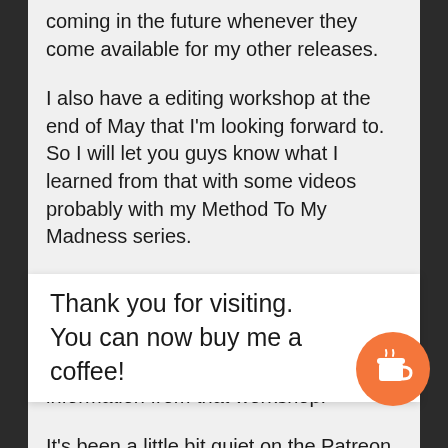coming in the future whenever they come available for my other releases.
I also have a editing workshop at the end of May that I'm looking forward to. So I will let you guys know what I learned from that with some videos probably with my Method To My Madness series.
I will be writing something a little bit more in depth about my editing process and I'm sure it's going to change a little bit more once I have some awesome information from that workshop.
It's been a little bit quiet on the Patreon front just because                                              ave a few sh                                          ust in editing                                           ect see the                                            . Th taking a bit more time than I'd expect...so... soon...
[Figure (infographic): Popup overlay with text 'Thank you for visiting. You can now buy me a coffee!' and an orange circular coffee cup button icon in the bottom right.]